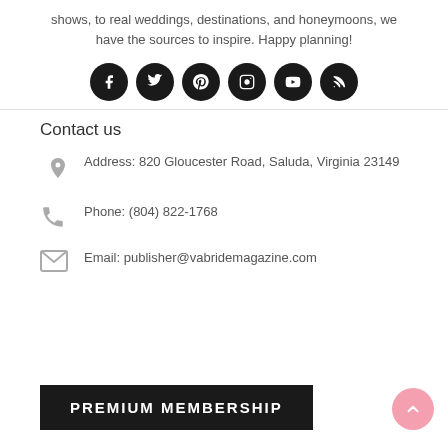shows, to real weddings, destinations, and honeymoons, we have the sources to inspire. Happy planning!
[Figure (illustration): Six black circular social media icons: Facebook, Twitter, Pinterest, Instagram, YouTube, RSS]
Contact us
Address: 820 Gloucester Road, Saluda, Virginia 23149
Phone: (804) 822-1768
Email: publisher@vabridemagazine.com
PREMIUM MEMBERSHIP